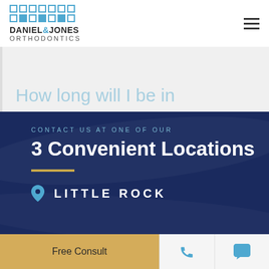[Figure (logo): Daniel & Jones Orthodontics logo with grid of squares and text]
How long will I be in
CONTACT US AT ONE OF OUR
3 Convenient Locations
LITTLE ROCK
Free Consult